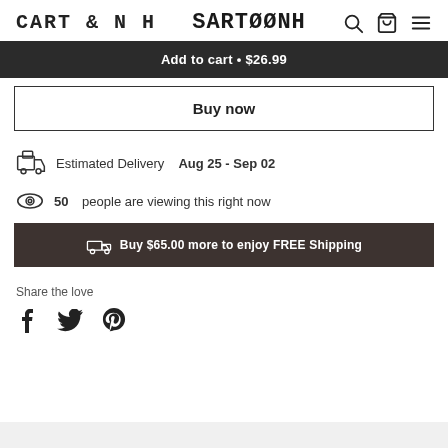CARTOONH
Add to cart • $26.99
Buy now
Estimated Delivery Aug 25 - Sep 02
50 people are viewing this right now
Buy $65.00 more to enjoy FREE Shipping
Share the love